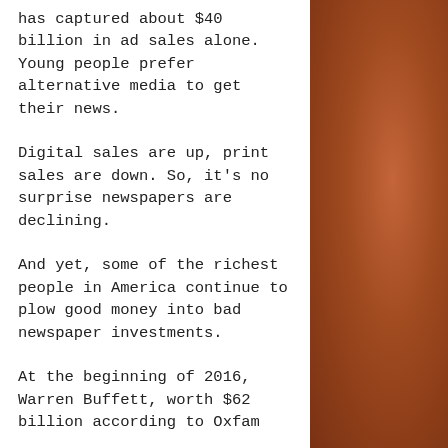has captured about $40 billion in ad sales alone. Young people prefer alternative media to get their news.
Digital sales are up, print sales are down. So, it's no surprise newspapers are declining.
And yet, some of the richest people in America continue to plow good money into bad newspaper investments.
At the beginning of 2016, Warren Buffett, worth $62 billion according to Oxfam